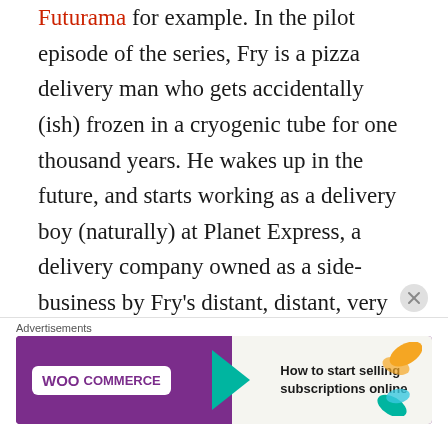Futurama for example. In the pilot episode of the series, Fry is a pizza delivery man who gets accidentally (ish) frozen in a cryogenic tube for one thousand years. He wakes up in the future, and starts working as a delivery boy (naturally) at Planet Express, a delivery company owned as a side-business by Fry's distant, distant, very distant nephew, Professor Hubert J. Farnsworth. A quick side-note about Futurama- this show is insanely smart at times. From the earliest episodes, the creators plotted out certain things that get threaded throughout the series. For example, in the future world of Futurama,
Advertisements
[Figure (other): WooCommerce advertisement banner with purple background, teal arrow, orange and teal leaf decorations, and text 'How to start selling subscriptions online']